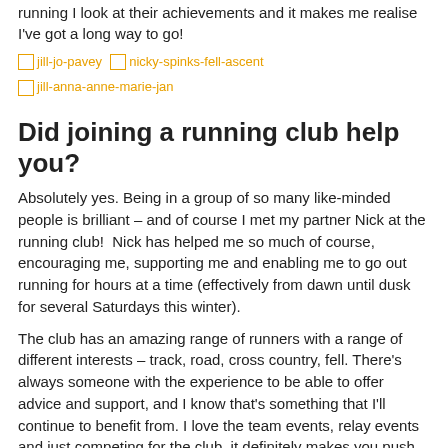running I look at their achievements and it makes me realise I've got a long way to go!
[Figure (illustration): Three broken image placeholders: jill-jo-pavey, nicky-spinks-fell-ascent, jill-anna-anne-marie-jan]
Did joining a running club help you?
Absolutely yes. Being in a group of so many like-minded people is brilliant – and of course I met my partner Nick at the running club!  Nick has helped me so much of course, encouraging me, supporting me and enabling me to go out running for hours at a time (effectively from dawn until dusk for several Saturdays this winter).
The club has an amazing range of runners with a range of different interests – track, road, cross country, fell. There's always someone with the experience to be able to offer advice and support, and I know that's something that I'll continue to benefit from. I love the team events, relay events and just competing for the club, it definitely makes you push yourself harder. It's always a fantastic atmosphere at the races. I love being a part of the Harriers. I was blown away by the support from the club at the canalathon, it really did lift my spirits seeing my club mates and I'll never ever forget it. I can't thank everyone enough, Sharing the support has been priceless.